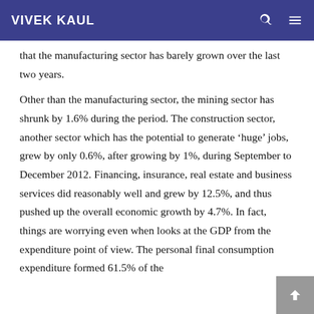VIVEK KAUL
that the manufacturing sector has barely grown over the last two years.
Other than the manufacturing sector, the mining sector has shrunk by 1.6% during the period. The construction sector, another sector which has the potential to generate ‘huge’ jobs, grew by only 0.6%, after growing by 1%, during September to December 2012. Financing, insurance, real estate and business services did reasonably well and grew by 12.5%, and thus pushed up the overall economic growth by 4.7%. In fact, things are worrying even when looks at the GDP from the expenditure point of view. The personal final consumption expenditure formed 61.5% of the